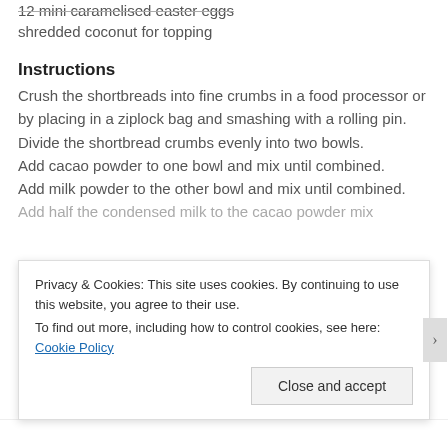12 mini caramelised easter eggs
shredded coconut for topping
Instructions
Crush the shortbreads into fine crumbs in a food processor or by placing in a ziplock bag and smashing with a rolling pin.
Divide the shortbread crumbs evenly into two bowls.
Add cacao powder to one bowl and mix until combined.
Add milk powder to the other bowl and mix until combined.
Add half the condensed milk to the cacao powder mix
Privacy & Cookies: This site uses cookies. By continuing to use this website, you agree to their use.
To find out more, including how to control cookies, see here: Cookie Policy